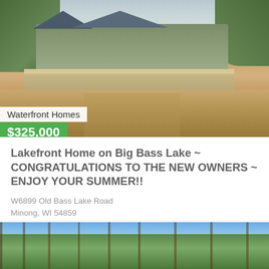[Figure (photo): Exterior photo of a lakefront home with large deck/porch, dirt driveway, surrounded by trees]
Waterfront Homes
$325,000
Lakefront Home on Big Bass Lake ~ CONGRATULATIONS TO THE NEW OWNERS ~ ENJOY YOUR SUMMER!!
W6899 Old Bass Lake Road
Minong, WI 54859
[Figure (photo): Photo looking up at tall pine trees against a blue sky]